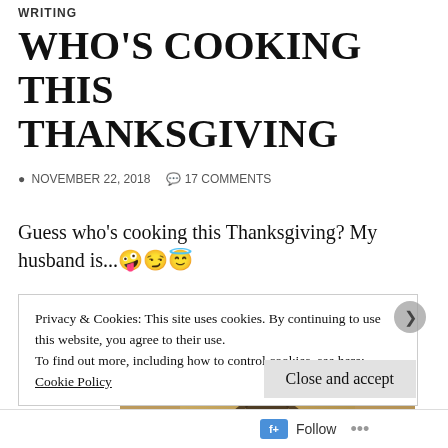WRITING
WHO'S COOKING THIS THANKSGIVING
NOVEMBER 22, 2018   17 COMMENTS
Guess who's cooking this Thanksgiving? My husband is...🤪😏😇
[Figure (photo): Person in a room with a paneled ceiling, photographed from a low angle looking up]
Privacy & Cookies: This site uses cookies. By continuing to use this website, you agree to their use.
To find out more, including how to control cookies, see here:
Cookie Policy
Close and accept
Follow